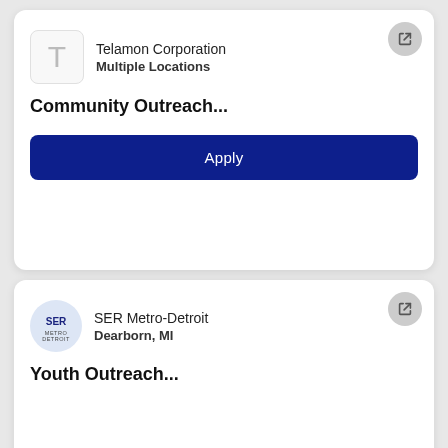Telamon Corporation
Multiple Locations
Community Outreach...
Apply
SER Metro-Detroit
Dearborn, MI
Youth Outreach...